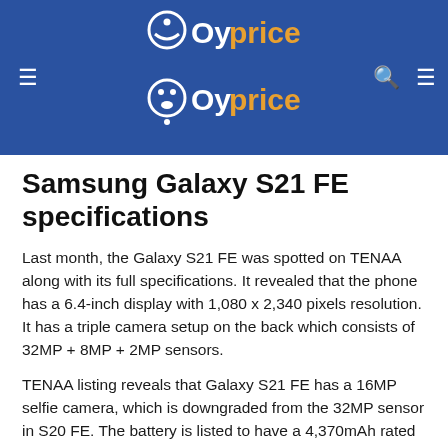[Figure (logo): Oyprice website logo on blue header background with navigation icons]
Samsung Galaxy S21 FE specifications
Last month, the Galaxy S21 FE was spotted on TENAA along with its full specifications. It revealed that the phone has a 6.4-inch display with 1,080 x 2,340 pixels resolution. It has a triple camera setup on the back which consists of 32MP + 8MP + 2MP sensors.
TENAA listing reveals that Galaxy S21 FE has a 16MP selfie camera, which is downgraded from the 32MP sensor in S20 FE. The battery is listed to have a 4,370mAh rated capacity battery, which means a typical capacity of around 4,500mAh.